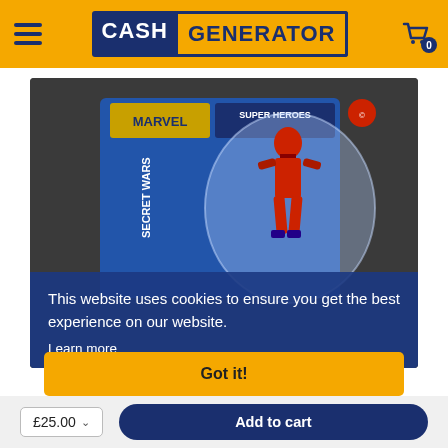Cash Generator
[Figure (photo): A Marvel Super Heroes action figure (red character) in original blister packaging, displayed against a dark background. The packaging shows 'Marvel Super Heroes' branding.]
This website uses cookies to ensure you get the best experience on our website.
Learn more
Got it!
£25.00
Add to cart